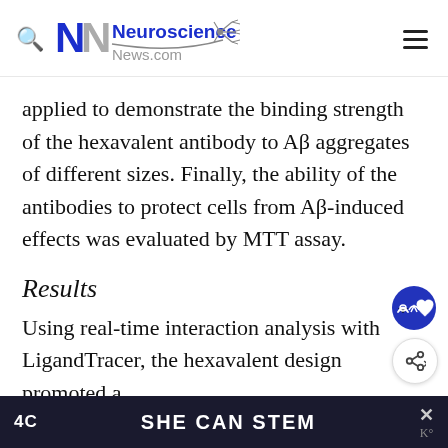Neuroscience News.com
applied to demonstrate the binding strength of the hexavalent antibody to Aβ aggregates of different sizes. Finally, the ability of the antibodies to protect cells from Aβ-induced effects was evaluated by MTT assay.
Results
Using real-time interaction analysis with LigandTracer, the hexavalent design promoted a
SHE CAN STEM